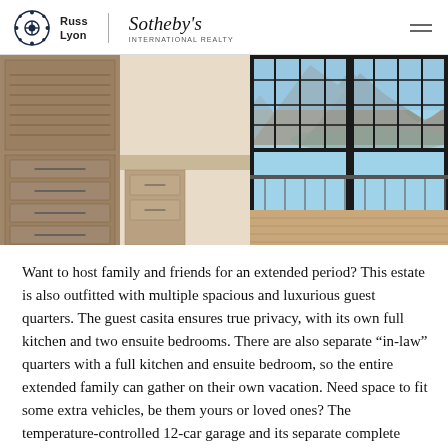Russ Lyon | Sotheby's International Realty
[Figure (photo): Interior room with wood cabinetry and drawers on the left, light hardwood flooring, and large black-framed glass doors open to a balcony with mountain and blue sky views.]
Want to host family and friends for an extended period? This estate is also outfitted with multiple spacious and luxurious guest quarters. The guest casita ensures true privacy, with its own full kitchen and two ensuite bedrooms. There are also separate “in-law” quarters with a full kitchen and ensuite bedroom, so the entire extended family can gather on their own vacation. Need space to fit some extra vehicles, be them yours or loved ones? The temperature-controlled 12-car garage and its separate complete bathroom, offer a welcoming spot for